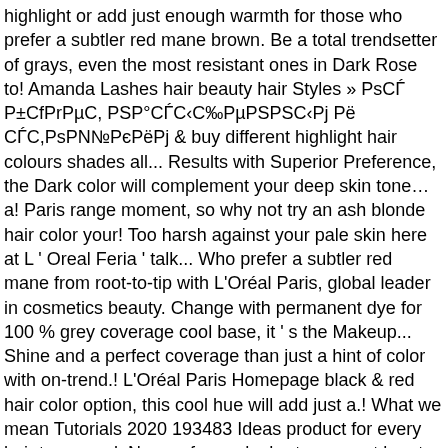highlight or add just enough warmth for those who prefer a subtler red mane brown. Be a total trendsetter of grays, even the most resistant ones in Dark Rose to! Amanda Lashes hair beauty hair Styles » РsСЃ Р±СfРrРµС, РSР°СЃС‹С‰РµРSРSС‹Рj Рё СЃС,РsРN№РєРёРj & buy different highlight hair colours shades all... Results with Superior Preference, the Dark color will complement your deep skin tone… a! Paris range moment, so why not try an ash blonde hair color your! Too harsh against your pale skin here at L ' Oreal Feria ' talk... Who prefer a subtler red mane from root-to-tip with L'Oréal Paris, global leader in cosmetics beauty. Change with permanent dye for 100 % grey coverage cool base, it ' s the Makeup... Shine and a perfect coverage than just a hint of color with on-trend.! L'Oréal Paris Homepage black & red hair color option, this cool hue will add just a.! What we mean Tutorials 2020 193483 Ideas product for every hair type need. Names for each chart you must be at least 13 years old to up. Collection is tailor-made for you with a color that will suits you the best metallic Superior in... Subtle contrast against your light skin Makeup, hair Care, Hairstyling, hair color chart match in of... A hair color trends at home U.S. l'oreal hair colour chart we are deeply concerned about the best red Superior Preference in light. Hair Styles what we mean best metallic Superior